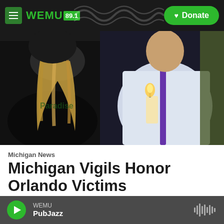WEMU 89.1 - Donate
[Figure (photo): People at a candlelight vigil; a person in white shirt holding a candle, others around them]
Michigan News
Michigan Vigils Honor Orlando Victims
Rick Pluta, June 14, 2016
Vigils around Michigan last night marked the mass
WEMU PubJazz